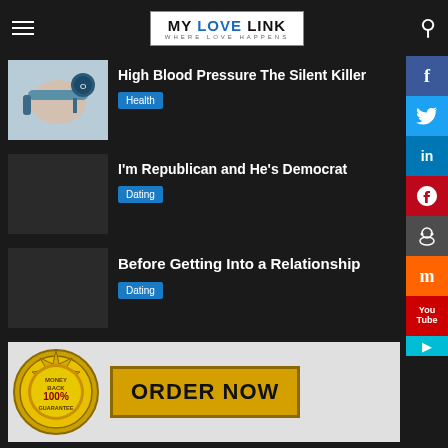MY LOVE LINK — WHERE LOVE HAPPENS
High Blood Pressure The Silent Killer
Health
I'm Republican and He's Democrat
Dating
Before Getting Into a Relationship
Dating
[Figure (infographic): ORDER NOW banner with 100% Money Back Guarantee seal and gold ORDER NOW button]